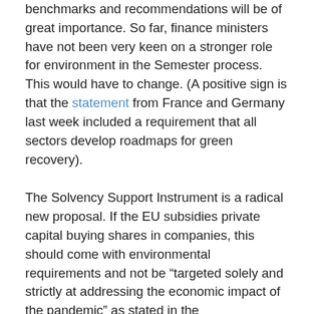benchmarks and recommendations will be of great importance. So far, finance ministers have not been very keen on a stronger role for environment in the Semester process. This would have to change. (A positive sign is that the statement from France and Germany last week included a requirement that all sectors develop roadmaps for green recovery).
The Solvency Support Instrument is a radical new proposal. If the EU subsidies private capital buying shares in companies, this should come with environmental requirements and not be “targeted solely and strictly at addressing the economic impact of the pandemic” as stated in the Communication on the EU budget. In the other Communication, there is a sentence saying that the investment guidelines for this new instrument “will also reflect the need to prioritise green investments”. This is